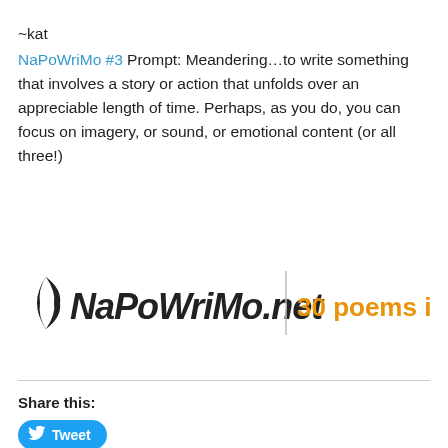~kat
NaPoWriMo #3 Prompt: Meandering…to write something that involves a story or action that unfolds over an appreciable length of time. Perhaps, as you do, you can focus on imagery, or sound, or emotional content (or all three!)
[Figure (logo): NaPoWriMo.net logo with stylized handwritten text and a feather/quill, alongside orange text '30 poems in 30 days']
Share this:
Tweet